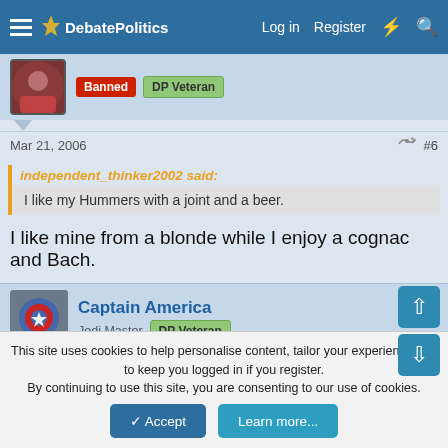DebatePolitics — Log in  Register
Banned  DP Veteran
Mar 21, 2006  #6
independent_thinker2002 said:
I like my Hummers with a joint and a beer.
I like mine from a blonde while I enjoy a cognac and Bach.
Captain America
Jedi Master  DP Veteran
Mar 21, 2006  #7
This site uses cookies to help personalise content, tailor your experience and to keep you logged in if you register.
By continuing to use this site, you are consenting to our use of cookies.